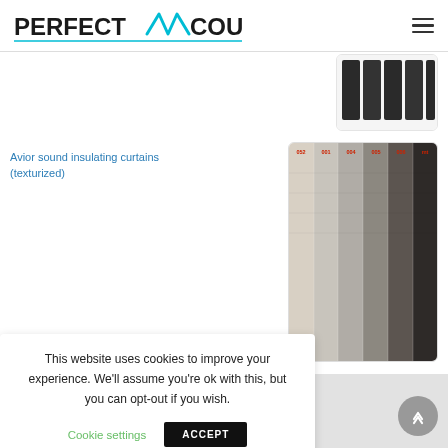PerfectAcoustic
[Figure (photo): Partial image of a black acoustic foam/diffuser panel product, cropped at top]
Avior sound insulating curtains (texturized)
[Figure (photo): Fabric color swatches showing 6 different shades/textures from light gray to dark brown/black for sound insulating curtains]
This website uses cookies to improve your experience. We'll assume you're ok with this, but you can opt-out if you wish.
Cookie settings
ACCEPT